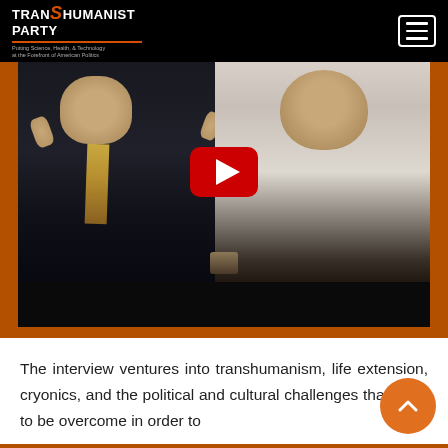TRANSHUMANIST PARTY – Putting Science, Health, & Technology at the Forefront of American Politics
[Figure (photo): A YouTube video thumbnail showing two men smiling and posing together. The man on the left wears a dark suit jacket with a decorative tie and gives two thumbs up. The man on the right is bald, wearing a light shirt, and leaning forward smiling. A red YouTube play button is overlaid in the center.]
The interview ventures into transhumanism, life extension, cryonics, and the political and cultural challenges that need to be overcome in order to